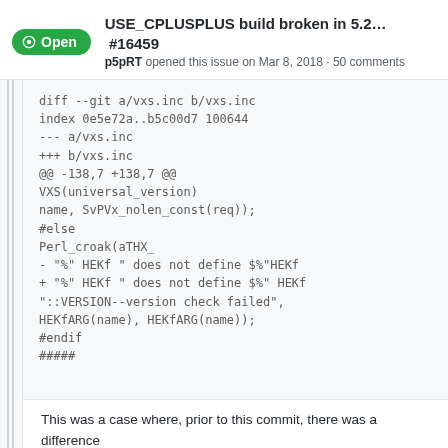USE_CPLUSPLUS build broken in 5.2... #16459 p5pRT opened this issue on Mar 8, 2018 · 50 comments
diff --git a/vxs.inc b/vxs.inc
index 0e5e72a..b5c00d7 100644
--- a/vxs.inc
+++ b/vxs.inc
@@ -138,7 +138,7 @@
VXS(universal_version)
name, SvPVx_nolen_const(req));
#else
Perl_croak(aTHX_
- "%" HEKf " does not define $%"HEKf
+ "%" HEKf " does not define $%" HEKf
"::VERSION--version check failed",
HEKfARG(name), HEKfARG(name));
#endif
#####
This was a case where, prior to this commit, there was a difference